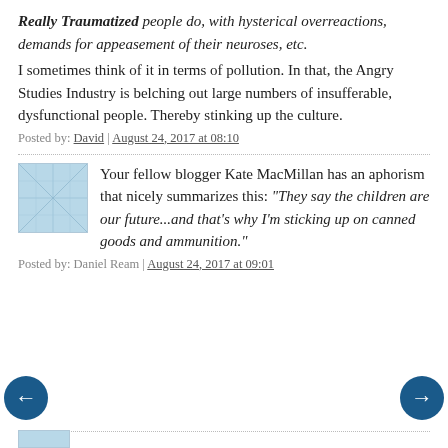Really Traumatized people do, with hysterical overreactions, demands for appeasement of their neuroses, etc.
I sometimes think of it in terms of pollution. In that, the Angry Studies Industry is belching out large numbers of insufferable, dysfunctional people. Thereby stinking up the culture.
Posted by: David | August 24, 2017 at 08:10
Your fellow blogger Kate MacMillan has an aphorism that nicely summarizes this: "They say the children are our future...and that's why I'm sticking up on canned goods and ammunition."
Posted by: Daniel Ream | August 24, 2017 at 09:01